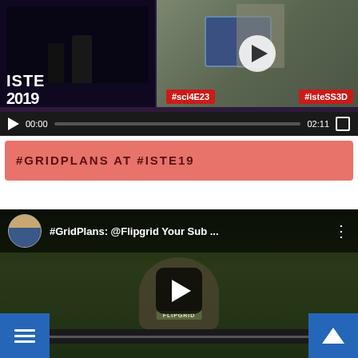[Figure (screenshot): Video player showing ISTE 2019 event footage with hashtags #sci4E23 and #isteSS3D, playback controls showing 00:00 / 02:11]
#GRIDPLANS AT #ISTE19
[Figure (screenshot): YouTube video thumbnail for '#GridPlans: @Flipgrid Your Sub...' with avatar of man in suit, play button overlay, person in Flipgrid shirt gesturing outdoors]